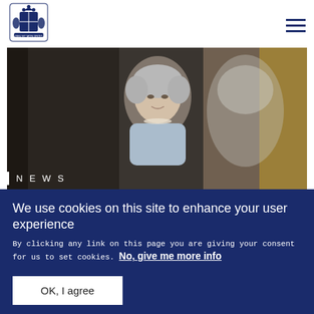[Figure (logo): Royal coat of arms / royal crest logo in navy blue]
[Figure (photo): Portrait photograph/painting of an elderly woman (Queen Elizabeth II) with short grey hair, wearing a light blue outfit and pearl necklace, with a gold-framed mirror or painting in the background. NEWS label overlaid at bottom left.]
We use cookies on this site to enhance your user experience
By clicking any link on this page you are giving your consent for us to set cookies. No, give me more info
OK, I agree